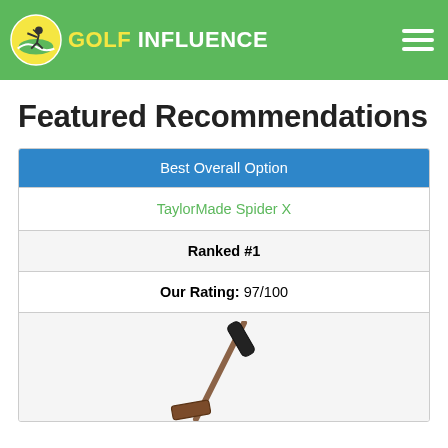GOLF INFLUENCE
Featured Recommendations
| Best Overall Option |
| --- |
| TaylorMade Spider X |
| Ranked #1 |
| Our Rating: 97/100 |
| [product image] |